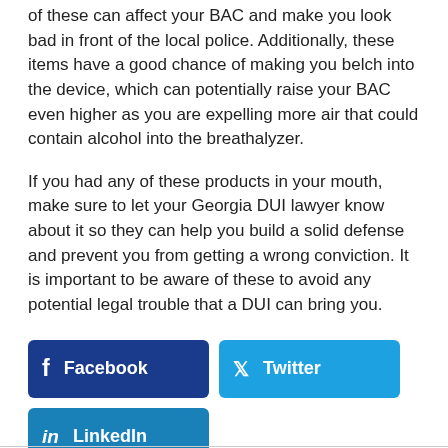of these can affect your BAC and make you look bad in front of the local police. Additionally, these items have a good chance of making you belch into the device, which can potentially raise your BAC even higher as you are expelling more air that could contain alcohol into the breathalyzer.
If you had any of these products in your mouth, make sure to let your Georgia DUI lawyer know about it so they can help you build a solid defense and prevent you from getting a wrong conviction. It is important to be aware of these to avoid any potential legal trouble that a DUI can bring you.
[Figure (other): Social share buttons: Facebook (dark blue), Twitter (light blue), LinkedIn (medium blue)]